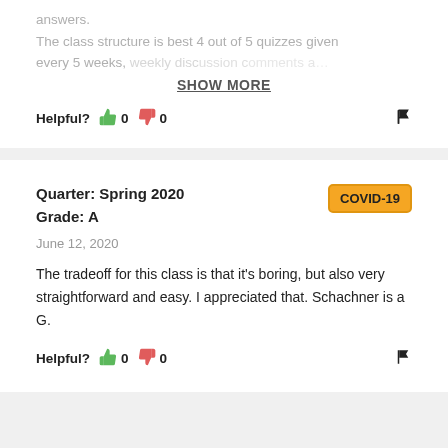answers.
The class structure is best 4 out of 5 quizzes given every 5 weeks, weekly discussion comments a…
SHOW MORE
Helpful?  0  0
Quarter: Spring 2020
Grade: A
COVID-19
June 12, 2020
The tradeoff for this class is that it's boring, but also very straightforward and easy. I appreciated that. Schachner is a G.
Helpful?  0  0